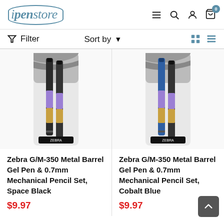ipenstore — navigation header with menu, search, account, and cart icons (cart: 0 items)
Filter   Sort by ▾   [grid view] [list view]
[Figure (photo): Zebra G/M-350 Metal Barrel Gel Pen & 0.7mm Mechanical Pencil Set, Space Black — product packaging image showing two pens with zebra-print design, one with purple grip and one with gold/yellow grip]
Zebra G/M-350 Metal Barrel Gel Pen & 0.7mm Mechanical Pencil Set, Space Black
$9.97
[Figure (photo): Zebra G/M-350 Metal Barrel Gel Pen & 0.7mm Mechanical Pencil Set, Cobalt Blue — product packaging image showing two pens with zebra-print design, one blue/cobalt and one with purple grip and gold/yellow grip]
Zebra G/M-350 Metal Barrel Gel Pen & 0.7mm Mechanical Pencil Set, Cobalt Blue
$9.97